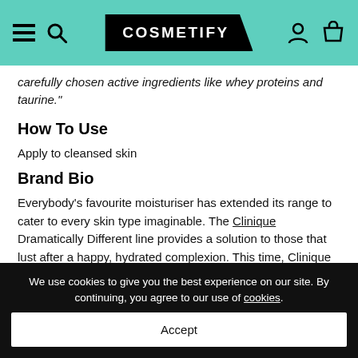COSMETIFY
carefully chosen active ingredients like whey proteins and taurine."
How To Use
Apply to cleansed skin
Brand Bio
Everybody's favourite moisturiser has extended its range to cater to every skin type imaginable. The Clinique Dramatically Different line provides a solution to those that lust after a happy, hydrated complexion. This time, Clinique have stepped things up a notch by reformulating this cult-
We use cookies to give you the best experience on our site. By continuing, you agree to our use of cookies.
Accept